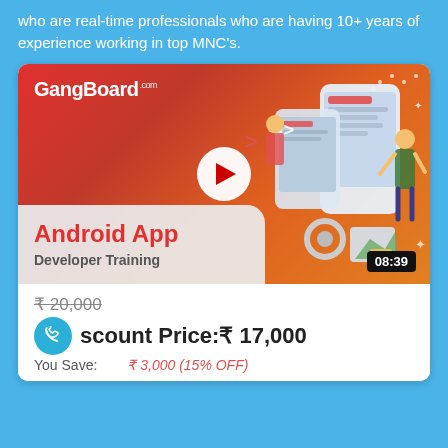who are real-time professionals who are having 10+ years of experience working in top MNC's.
[Figure (screenshot): GangBoard Android App Developer Training video thumbnail with YouTube play button, duration 08:39, showing phone/app UI illustration on orange-red gradient background]
₹ 20,000 (strikethrough)
Discount Price:₹ 17,000
You Save: ₹ 3,000 (15% OFF)